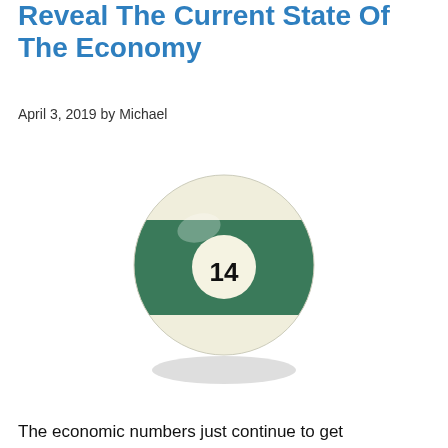Reveal The Current State Of The Economy
April 3, 2019 by Michael
[Figure (photo): A billiard ball numbered 14 with a green stripe band around the middle, on a white background.]
The economic numbers just continue to get